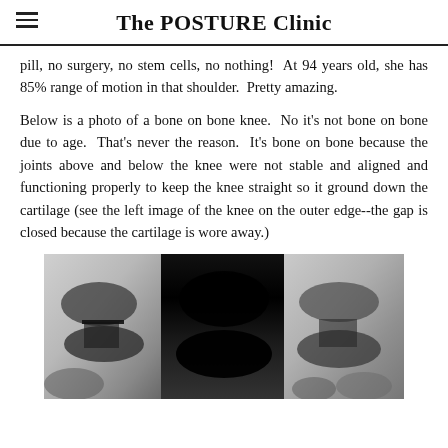The POSTURE Clinic
pill, no surgery, no stem cells, no nothing!  At 94 years old, she has 85% range of motion in that shoulder.  Pretty amazing.
Below is a photo of a bone on bone knee.  No it's not bone on bone due to age.  That's never the reason.  It's bone on bone because the joints above and below the knee were not stable and aligned and functioning properly to keep the knee straight so it ground down the cartilage (see the left image of the knee on the outer edge--the gap is closed because the cartilage is wore away.)
[Figure (photo): Black and white X-ray image of a bone on bone knee, showing two views. The left image shows the outer edge of the knee with the gap closed due to worn cartilage.]